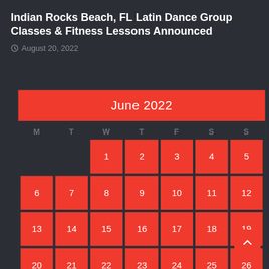Indian Rocks Beach, FL Latin Dance Group Classes & Fitness Lessons Announced
August 20, 2022
[Figure (other): June 2022 calendar widget with red cells for each day. Days 1-5 start on Wednesday. Full weeks shown for 6-12, 13-19, 20-26, and partial last row. Days of week header: M T W T F S S.]